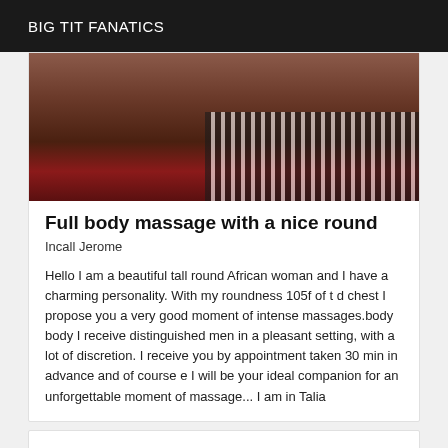BIG TIT FANATICS
[Figure (photo): Partial view of legs and feet standing on a patterned rug, with striped background visible on the right side.]
Full body massage with a nice round
Incall Jerome
Hello I am a beautiful tall round African woman and I have a charming personality. With my roundness 105f of t d chest I propose you a very good moment of intense massages.body body I receive distinguished men in a pleasant setting, with a lot of discretion. I receive you by appointment taken 30 min in advance and of course e I will be your ideal companion for an unforgettable moment of massage... I am in Talia